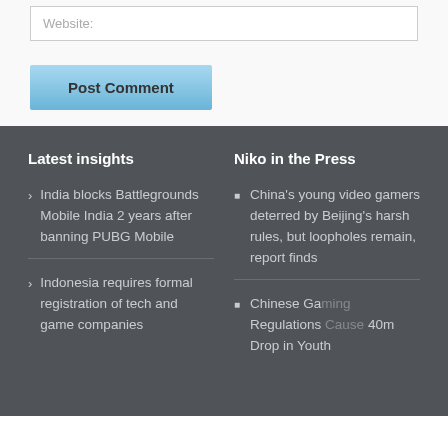Website:
Post Comment
Latest insights
Niko in the Press
India blocks Battlegrounds Mobile India 2 years after banning PUBG Mobile
Indonesia requires formal registration of tech and game companies
China's young video gamers deterred by Beijing's harsh rules, but loopholes remain, report finds
Chinese Gaming Regulations Cause 40m Drop in Youth